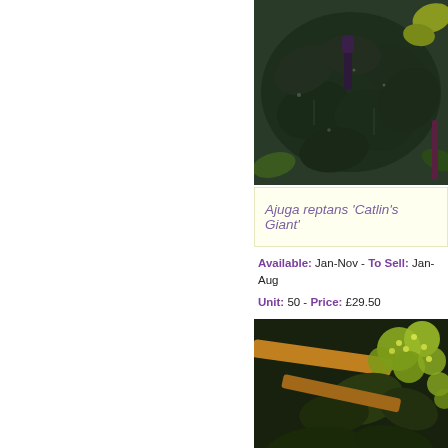[Figure (photo): Close-up photo of Ajuga reptans 'Catlin's Giant' plant with dark glossy leaves and some yellow-green foliage visible in background]
Ajuga reptans 'Catlin's Giant'
Available: Jan-Nov - To Sell: Jan-Aug
Unit: 50 - Price: £29.50
[Figure (photo): Photo of a plant with yellow-green clustered flowers, possibly Alchemilla or similar species, against a dark background]